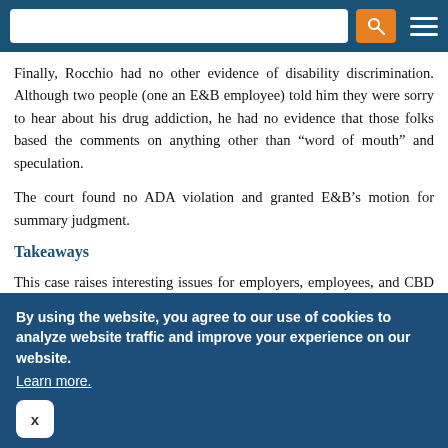[Navigation bar with search and menu]
Finally, Rocchio had no other evidence of disability discrimination. Although two people (one an E&B employee) told him they were sorry to hear about his drug addiction, he had no evidence that those folks based the comments on anything other than “word of mouth” and speculation.
The court found no ADA violation and granted E&B’s motion for summary judgment.
Takeaways
This case raises interesting issues for employers, employees, and CBD product manufacturers. Rocchio says he was engaging in legal, off-duty behavior and it got him fired. According to this court, if there is legal protection for him, it is not under the ADA. The facts
By using the website, you agree to our use of cookies to analyze website traffic and improve your experience on our website. Learn more.